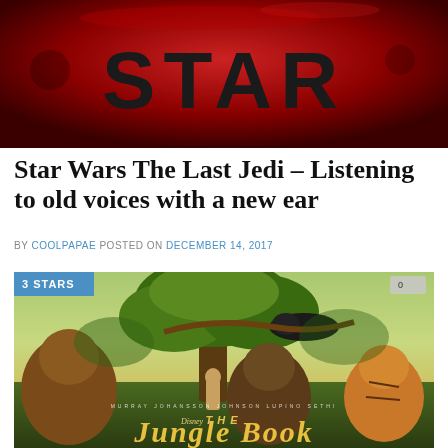[Figure (photo): Star Wars: The Last Jedi movie banner/poster with red background and large STAR text]
Star Wars The Last Jedi – Listening to old voices with a new ear
BY COOLPAPAE POSTED ON DECEMBER 14, 2017
[Figure (photo): The Jungle Book movie poster showing 3 STARS badge, various jungle animals including bear, orangutan, panther, and tiger around a large tree with boy Mowgli, Disney logo and The Jungle Book title at bottom]